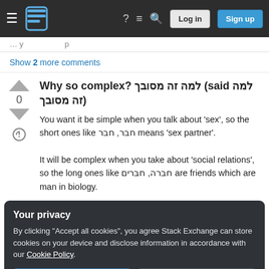Stack Exchange navigation bar with Log in and Sign up buttons
Show 2 more comments
Why so complex? למה זה מסובך (said למה זה מסובך)
You want it be simple when you talk about 'sex', so the short ones like חבר, חבר means 'sex partner'. It will be complex when you take about 'social relations', so the long ones like חברה, חברים are friends which are man in biology.
Your privacy
By clicking "Accept all cookies", you agree Stack Exchange can store cookies on your device and disclose information in accordance with our Cookie Policy.
Accept all cookies
Customize settings
חבר = boy friend חברה = male friend חברים=male friend